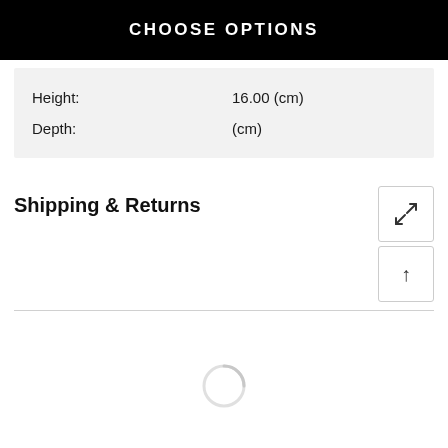CHOOSE OPTIONS
| Height: | 16.00 (cm) |
| Depth: | (cm) |
Shipping & Returns
[Figure (screenshot): Loading spinner icon in light gray]